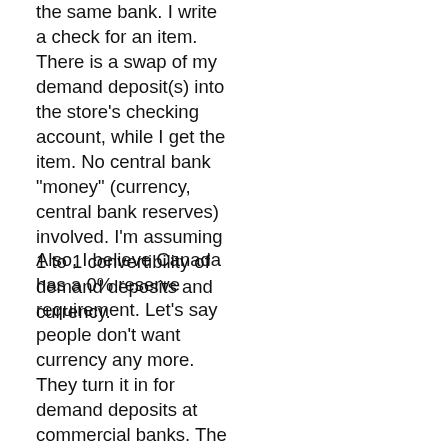the same bank. I write a check for an item. There is a swap of my demand deposit(s) into the store's checking account, while I get the item. No central bank "money" (currency, central bank reserves) involved. I'm assuming 1 to 1 convertibility of demand deposits and currency.
Also, I believe Canada has a 0% reserve requirement. Let's say people don't want currency any more. They turn it in for demand deposits at commercial banks. The commercial banks swap the currency for central bank reserves. The commercial